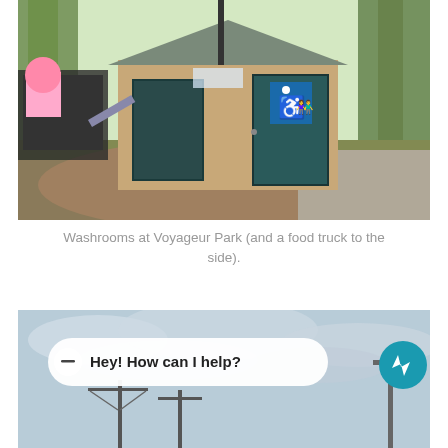[Figure (photo): Outdoor washroom building at Voyageur Park — a small tan/beige wooden shed with a dark teal door bearing a wheelchair-accessible restroom sign (blue with male/female icons). Trees and grass in background. A food truck is visible to the left side. Gravel ground in foreground.]
Washrooms at Voyageur Park (and a food truck to the side).
[Figure (screenshot): Partial screenshot of a webpage showing a Facebook Messenger chat widget overlaid on a photo of a cloudy sky with utility poles. The widget shows a white minimize button (–), a white pill-shaped bubble with text 'Hey! How can I help?', and a teal circular Messenger icon on the right.]